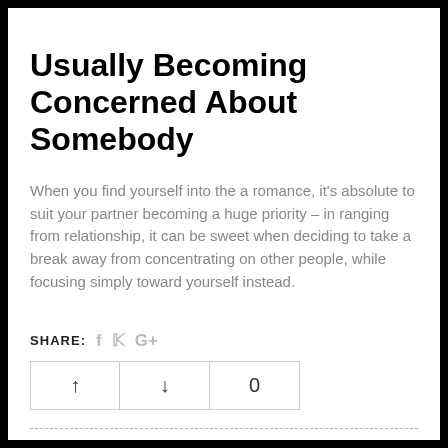USUALLY BECOMING CONCERNED ABOUT SOMEBODY
When you find yourself into the a romance, it's absolute to suit your partner becoming a huge priority – in ranging from relationship, it can be sweet when deciding to take a break away from concentrating on other people, while focusing simply toward yourself instead.
SHARE: f  G+
| ↑ | ↓ | 0 |